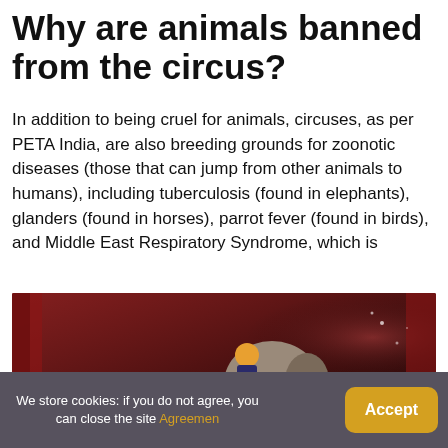Why are animals banned from the circus?
In addition to being cruel for animals, circuses, as per PETA India, are also breeding grounds for zoonotic diseases (those that can jump from other animals to humans), including tuberculosis (found in elephants), glanders (found in horses), parrot fever (found in birds), and Middle East Respiratory Syndrome, which is
[Figure (photo): Video thumbnail showing an elephant at a circus with a red curtain background and a YouTube play button overlay]
We store cookies: if you do not agree, you can close the site Agreemen